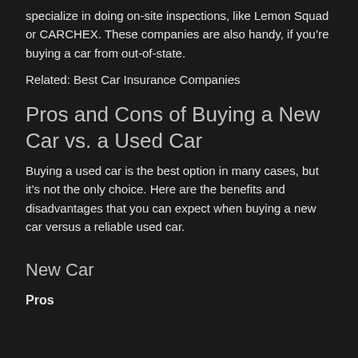specialize in doing on-site inspections, like Lemon Squad or CARCHEX. These companies are also handy, if you're buying a car from out-of-state.
Related: Best Car Insurance Companies
Pros and Cons of Buying a New Car vs. a Used Car
Buying a used car is the best option in many cases, but it's not the only choice. Here are the benefits and disadvantages that you can expect when buying a new car versus a reliable used car.
New Car
Pros